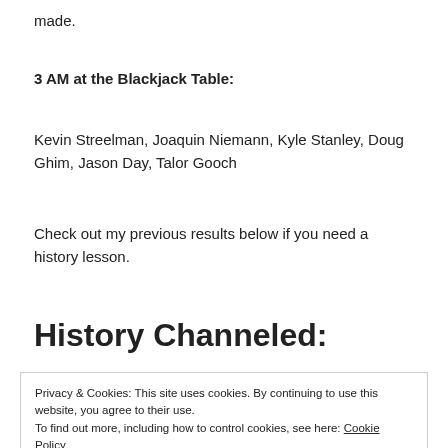made.
3 AM at the Blackjack Table:
Kevin Streelman, Joaquin Niemann, Kyle Stanley, Doug Ghim, Jason Day, Talor Gooch
Check out my previous results below if you need a history lesson.
History Channeled:
Privacy & Cookies: This site uses cookies. By continuing to use this website, you agree to their use.
To find out more, including how to control cookies, see here: Cookie Policy
Close and accept